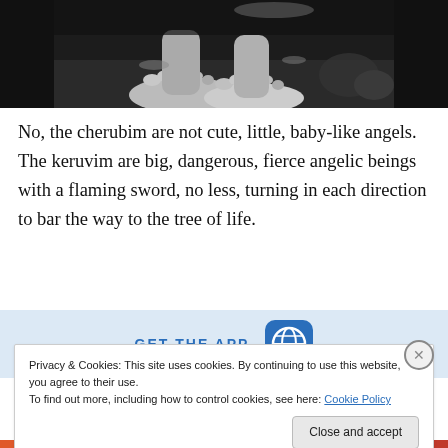[Figure (photo): Black and white photograph showing bare feet/legs near water or ground with foliage, cropped at top]
No, the cherubim are not cute, little, baby-like angels. The keruvim are big, dangerous, fierce angelic beings with a flaming sword, no less, turning in each direction to bar the way to the tree of life.
[Figure (screenshot): GET THE APP banner with WordPress logo icon]
Privacy & Cookies: This site uses cookies. By continuing to use this website, you agree to their use.
To find out more, including how to control cookies, see here: Cookie Policy